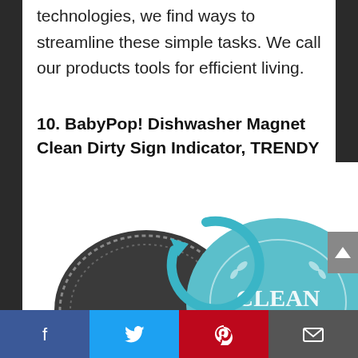technologies, we find ways to streamline these simple tasks. We call our products tools for efficient living.
10. BabyPop! Dishwasher Magnet Clean Dirty Sign Indicator, TRENDY universal double sided kitchen dish washer magnet, BONUS magnetic plate for kitchen organization and storage by BabyPop! (Aqua)
[Figure (photo): Product image of BabyPop dishwasher magnet showing a dark dirty side and a teal/aqua clean side with a circular arrow indicator and 'CLEAN' text]
Facebook Twitter Pinterest Email social sharing bar